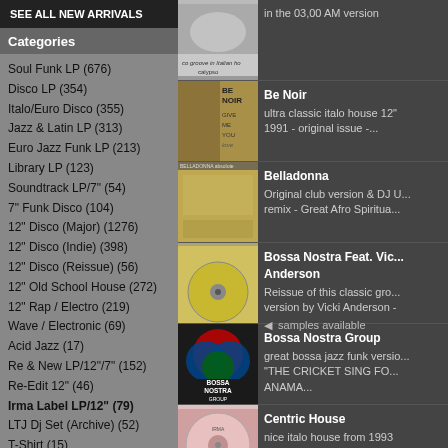SEE ALL NEW ARRIVALS
Categories
Soul Funk LP (676)
Disco LP (354)
Italo/Euro Disco (355)
Jazz & Latin LP (313)
Euro Jazz Funk LP (213)
Library LP (123)
Soundtrack LP/7" (54)
7" Funk Disco (104)
12" Disco (Major) (1276)
12" Disco (Indie) (398)
12" Disco (Reissue) (56)
12" Old School House (272)
12" Rap / Electro (219)
Wave / Electronic (69)
Acid Jazz (17)
Re & New LP/12"/7" (152)
Re-Edit 12" (46)
Irma Label LP/12" (79)
LTJ Dj Set (Archive) (52)
T-Shirt (15)
Information
Shipping & Returns
[Figure (photo): Album cover - disco groove in Italian house calypso]
in the 03,00 AM version
[Figure (photo): Be Noir album cover - street scene]
Be Noir
ultra classic italo house 12"
1991 - original issue -...
[Figure (photo): Belladonna album cover]
Belladonna
Original club version & DJ U... remix - Great Afro Spiritua...
[Figure (photo): Bossa Nostra Feat. Vicki Anderson album cover]
Bossa Nostra Feat. Vicki Anderson
Reissue of this classic gro... version by Vicki Anderson -
◄  samples available
[Figure (photo): Bossa Nostra Group logo album cover]
Bossa Nostra Group
great bossa jazz funk versio... "THE CRICKET SING FO... ANAMA...
[Figure (photo): Centric House pink vinyl record]
Centric House
nice italo house from 1993